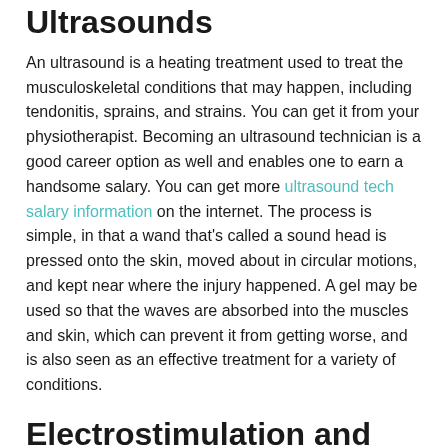Ultrasounds
An ultrasound is a heating treatment used to treat the musculoskeletal conditions that may happen, including tendonitis, sprains, and strains. You can get it from your physiotherapist. Becoming an ultrasound technician is a good career option as well and enables one to earn a handsome salary. You can get more ultrasound tech salary information on the internet. The process is simple, in that a wand that's called a sound head is pressed onto the skin, moved about in circular motions, and kept near where the injury happened. A gel may be used so that the waves are absorbed into the muscles and skin, which can prevent it from getting worse, and is also seen as an effective treatment for a variety of conditions.
Electrostimulation and TENS